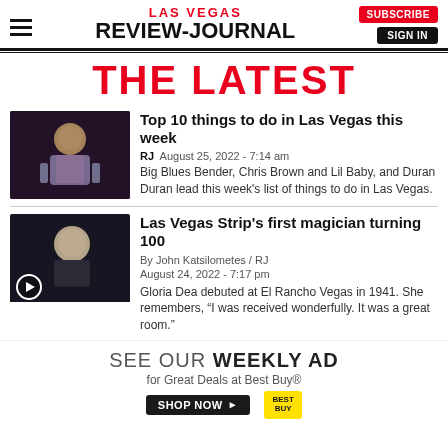LAS VEGAS REVIEW-JOURNAL | SUBSCRIBE | SIGN IN
THE LATEST
Top 10 things to do in Las Vegas this week
RJ August 25, 2022 - 7:14 am
Big Blues Bender, Chris Brown and Lil Baby, and Duran Duran lead this week's list of things to do in Las Vegas.
Las Vegas Strip's first magician turning 100
By John Katsilometes / RJ
August 24, 2022 - 7:17 pm
Gloria Dea debuted at El Rancho Vegas in 1941. She remembers, “I was received wonderfully. It was a great room.”
[Figure (screenshot): Advertisement: SEE OUR WEEKLY AD for Great Deals at Best Buy - SHOP NOW button with Best Buy logo]